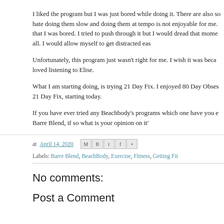I liked the program but I was just bored while doing it. There are also so... hate doing them slow and doing them at tempo is not enjoyable for me. ... that I was bored. I tried to push through it but I would dread that mome... all. I would allow myself to get distracted eas...
Unfortunately, this program just wasn't right for me. I wish it was beca... loved listening to Elise.
What I am starting doing, is trying 21 Day Fix. I enjoyed 80 Day Obses... 21 Day Fix, starting today.
If you have ever tried any Beachbody's programs which one have you e... Barre Blend, if so what is your opinion on it'...
at April 14, 2020
Labels: Barre Blend, BeachBody, Exercise, Fitness, Getting Fit
No comments:
Post a Comment